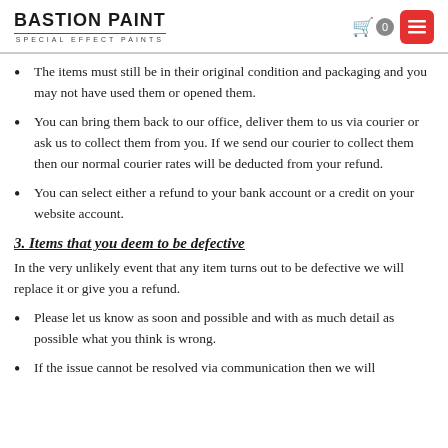BASTION PAINT SPECIAL EFFECT PAINTS
The items must still be in their original condition and packaging and you may not have used them or opened them.
You can bring them back to our office, deliver them to us via courier or ask us to collect them from you. If we send our courier to collect them then our normal courier rates will be deducted from your refund.
You can select either a refund to your bank account or a credit on your website account.
3. Items that you deem to be defective
In the very unlikely event that any item turns out to be defective we will replace it or give you a refund.
Please let us know as soon and possible and with as much detail as possible what you think is wrong.
If the issue cannot be resolved via communication then we will